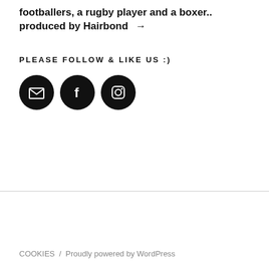footballers, a rugby player and a boxer.. produced by Hairbond →
PLEASE FOLLOW & LIKE US :)
[Figure (illustration): Three black circular social media icons: email/envelope, Facebook (f), and Instagram (camera/square)]
COOKIES  /  Proudly powered by WordPress